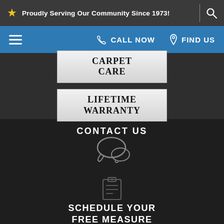Proudly Serving Our Community Since 1973!
[Figure (screenshot): Navigation bar with hamburger menu, CALL NOW button with phone icon, and FIND US button with map pin icon on blue background]
CARPET CARE
LIFETIME WARRANTY
CONTACT US
SCHEDULE YOUR FREE MEASURE